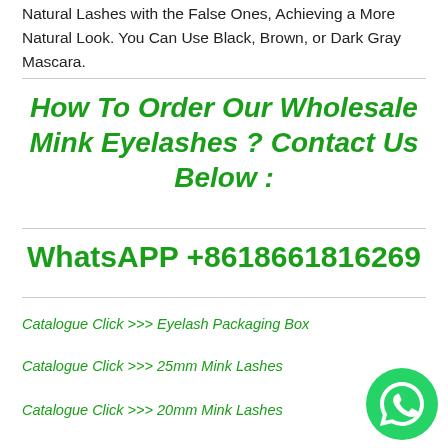Natural Lashes with the False Ones, Achieving a More Natural Look. You Can Use Black, Brown, or Dark Gray Mascara.
How To Order Our Wholesale Mink Eyelashes ? Contact Us Below :
WhatsApp +8618661816269
Catalogue Click >>> Eyelash Packaging Box
Catalogue Click >>> 25mm Mink Lashes
Catalogue Click >>> 20mm Mink Lashes